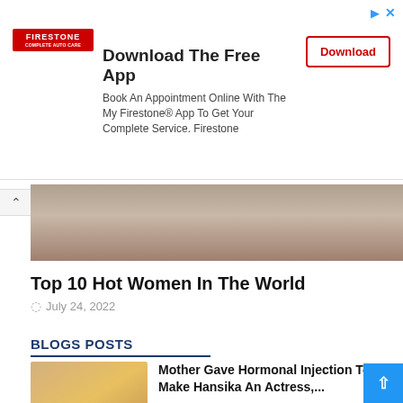[Figure (infographic): Advertisement banner for Firestone app with logo, title 'Download The Free App', body text, and a red Download button]
[Figure (photo): Partial photo of a person, cropped hero image]
Top 10 Hot Women In The World
July 24, 2022
BLOGS POSTS
[Figure (photo): Thumbnail photo of a woman in a yellow outfit]
Mother Gave Hormonal Injection To Make Hansika An Actress,...
Aug 9, 9:54 pm  25